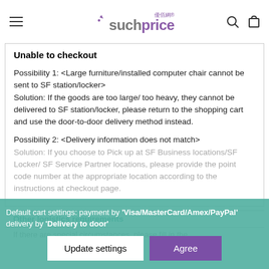suchprice
Unable to checkout
Possibility 1: <Large furniture/installed computer chair cannot be sent to SF station/locker>
Solution: If the goods are too large/ too heavy, they cannot be delivered to SF station/locker, please return to the shopping cart and use the door-to-door delivery method instead.
Possibility 2: <Delivery information does not match>
Solution: If you choose to Pick up at SF Business locations/SF Locker/ SF Service Partner locations, please provide the point code number at the appropriate location according to the instructions at checkout page.
Default cart settings: payment by 'Visa/MasterCard/Amex/PayPal' delivery by 'Delivery to door'
Other logistics requirements
If there are special circumstances, please fill in the